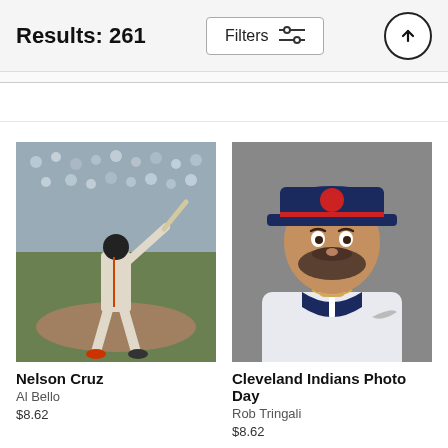Results: 261
Filters
[Figure (photo): Nelson Cruz batting action photo by Al Bello]
Nelson Cruz
Al Bello
$8.62
[Figure (photo): Cleveland Indians Photo Day portrait by Rob Tringali]
Cleveland Indians Photo Day
Rob Tringali
$8.62